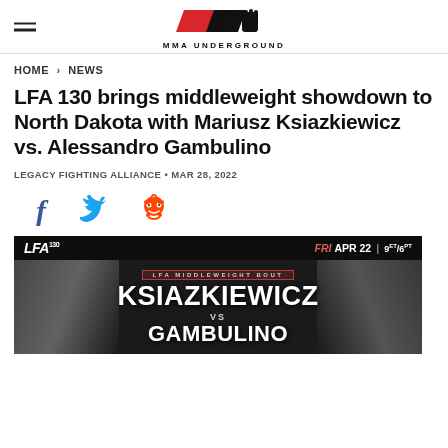MMA UNDERGROUND
HOME > NEWS
LFA 130 brings middleweight showdown to North Dakota with Mariusz Ksiazkiewicz vs. Alessandro Gambulino
LEGACY FIGHTING ALLIANCE • MAR 28, 2022
[Figure (infographic): Social media sharing icons: Facebook (f), Twitter bird, Reddit alien]
[Figure (infographic): LFA 130 event poster showing FRI APR 22 | 9ET/6PT, LFA Middleweight Bout: KSIAZKIEWICZ vs GAMBULINO, with fighter face photos on left and right sides]